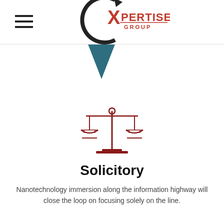[Figure (logo): Expertise Group logo with circular arrow/C shape and red X-pertise Group text, plus hamburger menu icon on left]
[Figure (illustration): Dark teal/blue downward-pointing triangle shape partially visible below the header]
[Figure (illustration): Red line-art scales of justice icon]
Solicitory
Nanotechnology immersion along the information highway will close the loop on focusing solely on the line.